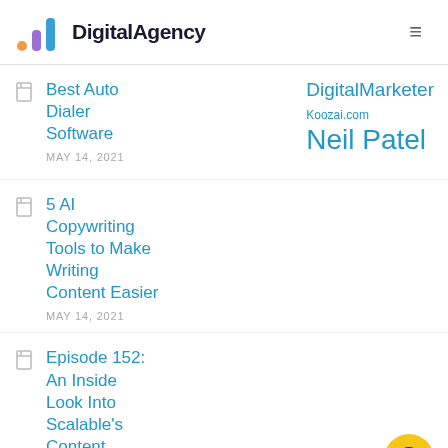DigitalAgency
Best Auto Dialer Software
MAY 14, 2021
DigitalMarketer
Koozai.com
Neil Patel
5 AI Copywriting Tools to Make Writing Content Easier
MAY 14, 2021
Episode 152: An Inside Look Into Scalable's Content Agency with
MAY 14, 2021